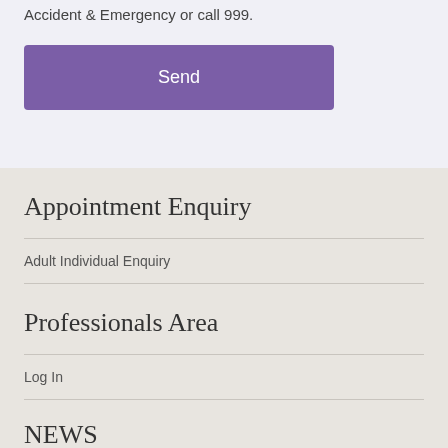Accident & Emergency or call 999.
Send
Appointment Enquiry
Adult Individual Enquiry
Professionals Area
Log In
NEWS